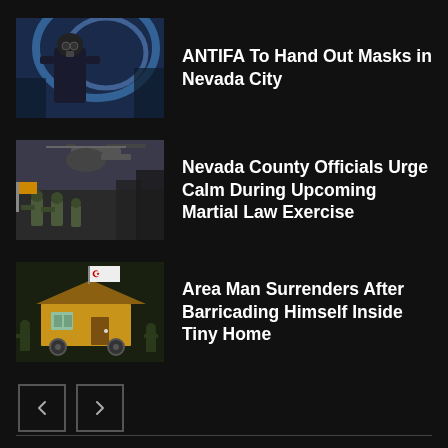[Figure (photo): Person in dark clothing with gas mask in urban scene with blue swirl background]
ANTIFA To Hand Out Masks in Nevada City
[Figure (photo): Military soldiers with helicopter in urban environment]
Nevada County Officials Urge Calm During Upcoming Martial Law Exercise
[Figure (photo): Tiny house on wheels with Hezbollah flag, surrounded by armed figures]
Area Man Surrenders After Barricading Himself Inside Tiny Home